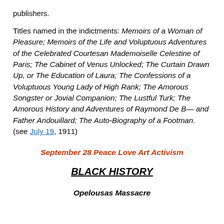publishers.
Titles named in the indictments: Memoirs of a Woman of Pleasure; Memoirs of the Life and Voluptuous Adventures of the Celebrated Courtesan Mademoiselle Celestine of Paris; The Cabinet of Venus Unlocked; The Curtain Drawn Up, or The Education of Laura; The Confessions of a Voluptuous Young Lady of High Rank; The Amorous Songster or Jovial Companion; The Lustful Turk; The Amorous History and Adventures of Raymond De B— and Father Andouillard; The Auto-Biography of a Footman. (see July 19, 1911)
September 28 Peace Love Art Activism
BLACK HISTORY
Opelousas Massacre